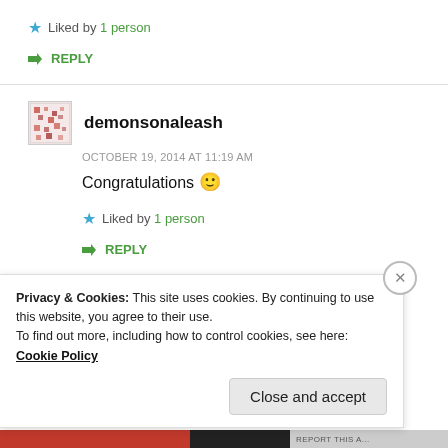★ Liked by 1 person
↳ REPLY
demonsonaleash
OCTOBER 19, 2014 AT 11:19 AM
Congratulations 🙂
★ Liked by 1 person
↳ REPLY
Privacy & Cookies: This site uses cookies. By continuing to use this website, you agree to their use.
To find out more, including how to control cookies, see here: Cookie Policy
Close and accept